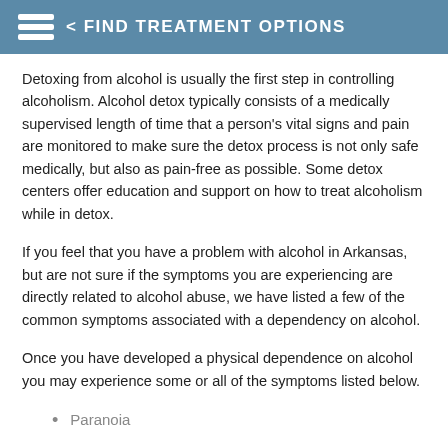< FIND TREATMENT OPTIONS
Detoxing from alcohol is usually the first step in controlling alcoholism. Alcohol detox typically consists of a medically supervised length of time that a person's vital signs and pain are monitored to make sure the detox process is not only safe medically, but also as pain-free as possible. Some detox centers offer education and support on how to treat alcoholism while in detox.
If you feel that you have a problem with alcohol in Arkansas, but are not sure if the symptoms you are experiencing are directly related to alcohol abuse, we have listed a few of the common symptoms associated with a dependency on alcohol.
Once you have developed a physical dependence on alcohol you may experience some or all of the symptoms listed below.
Paranoia
Anxiety